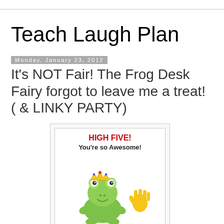Teach Laugh Plan
Monday, January 23, 2012
It's NOT Fair! The Frog Desk Fairy forgot to leave me a treat! ( & LINKY PARTY)
[Figure (illustration): A greeting card illustration with 'HIGH FIVE! You're so Awesome!' text in red and black, featuring a cartoon green frog wearing a gold crown, and a yellow hand giving a high five on the right side.]